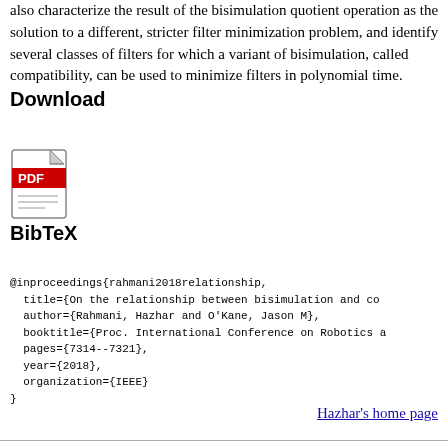also characterize the result of the bisimulation quotient operation as the solution to a different, stricter filter minimization problem, and identify several classes of filters for which a variant of bisimulation, called compatibility, can be used to minimize filters in polynomial time.
Download
[Figure (illustration): PDF file icon — red banner with 'PDF' text over a document/page icon]
BibTeX
@inproceedings{rahmani2018relationship,
  title={On the relationship between bisimulation and co
  author={Rahmani, Hazhar and O'Kane, Jason M},
  booktitle={Proc. International Conference on Robotics a
  pages={7314--7321},
  year={2018},
  organization={IEEE}
}
Hazhar's home page